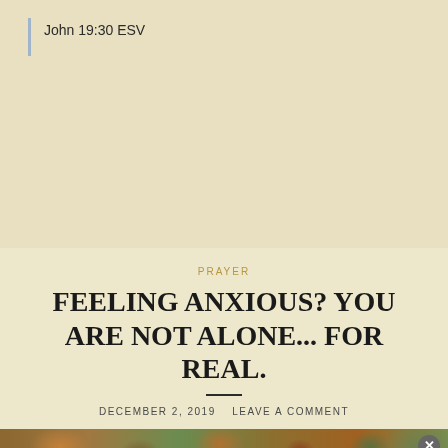John 19:30 ESV
PRAYER
FEELING ANXIOUS? YOU ARE NOT ALONE... FOR REAL.
DECEMBER 2, 2019   LEAVE A COMMENT
[Figure (photo): Autumn leaves on the ground, strip photo at bottom of beige section]
Advertisements
AUTOMATTIC
Build a better web and a better world.
HIDE THIS AD